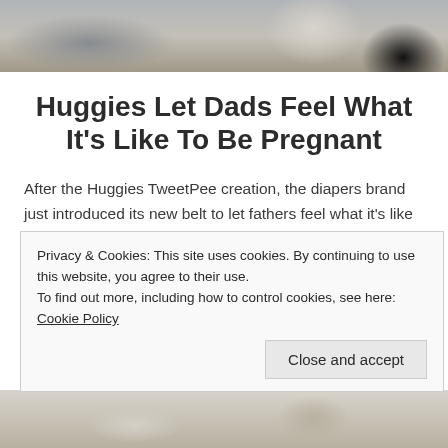[Figure (photo): Top cropped photo showing a pregnant person sitting, partial view of torso and hands]
Huggies Let Dads Feel What It's Like To Be Pregnant
After the Huggies TweetPee creation, the diapers brand just introduced its new belt to let fathers feel what it's like to be pregnant. How does it work? The pregnant mom wears a belt equipped with sensors sending signals to another one worn by her husband. The dad's belt will reproduce the exact same sensations. A […]
Privacy & Cookies: This site uses cookies. By continuing to use this website, you agree to their use.
To find out more, including how to control cookies, see here: Cookie Policy
Close and accept
[Figure (photo): Bottom cropped photo showing hands holding a mobile phone, partial view]